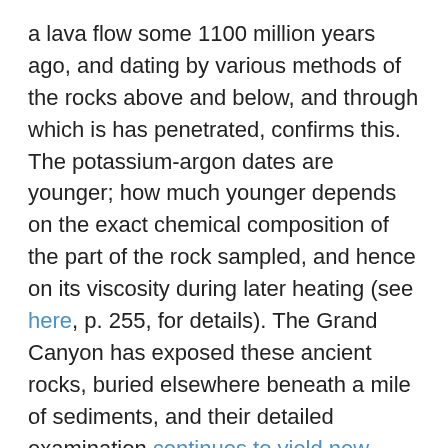a lava flow some 1100 million years ago, and dating by various methods of the rocks above and below, and through which is has penetrated, confirms this. The potassium-argon dates are younger; how much younger depends on the exact chemical composition of the part of the rock sampled, and hence on its viscosity during later heating (see here, p. 255, for details). The Grand Canyon has exposed these ancient rocks, buried elsewhere beneath a mile of sediments, and their detailed examination continues to yield new information about the tectonic forces at work in the distant past.
The elegant ellipses of planetary orbits are perturbed by their mutual interactions, The identical atoms of the early modern atomic theory turn out to be to a mixture of different isotopes. The single date for the formation of a